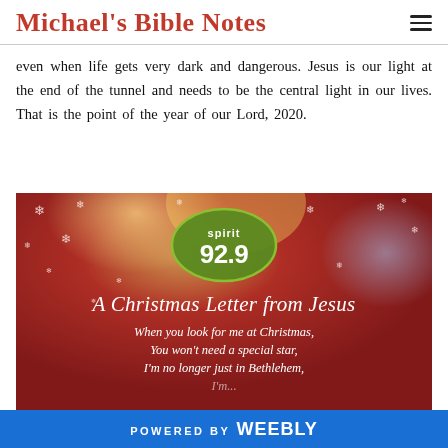Michael's Bible Notes
even when life gets very dark and dangerous. Jesus is our light at the end of the tunnel and needs to be the central light in our lives. That is the point of the year of our Lord, 2020.
[Figure (illustration): Christmas-themed image with red and gold bokeh background, snowflakes, Spirit 92.9 radio station logo, and text reading 'A Christmas Letter from Jesus' with italic script text: 'When you look for me at Christmas, You won't need a special star, I'm no longer just in Bethlehem, I'm...' (text cut off at bottom)]
POWERED BY weebly